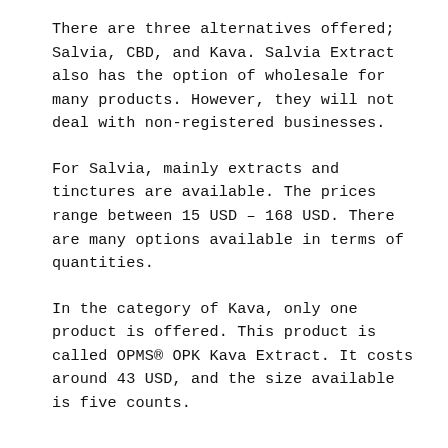There are three alternatives offered; Salvia, CBD, and Kava. Salvia Extract also has the option of wholesale for many products. However, they will not deal with non-registered businesses.
For Salvia, mainly extracts and tinctures are available. The prices range between 15 USD – 168 USD. There are many options available in terms of quantities.
In the category of Kava, only one product is offered. This product is called OPMS® OPK Kava Extract. It costs around 43 USD, and the size available is five counts.